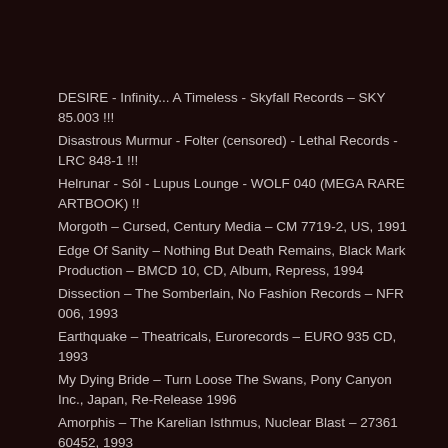DESIRE - Infinity... A Timeless - Skyfall Records – SKY 85.003 !!!
Disastrous Murmur - Folter (censored) - Lethal Records - LRC 848-1 !!!
Helrunar - Sól - Lupus Lounge - WOLF 040 (MEGA RARE ARTBOOK) !!
Morgoth – Cursed, Century Media – CM 7719-2, US, 1991
Edge Of Sanity – Nothing But Death Remains, Black Mark Production – BMCD 10, CD, Album, Repress, 1994
Dissection – The Somberlain, No Fashion Records – NFR 006, 1993
Earthquake – Theatricals, Eurorecords – EURO 935 CD, 1993
My Dying Bride – Turn Loose The Swans, Pony Canyon Inc., Japan, Re-Release 1996
Amorphis – The Karelian Isthmus, Nuclear Blast – 27361 60452, 1993
Defecation – Purity Dilution, Nuclear Blast – NB 018 CD, Reissue, 1992
Disgusting – Shapeshifterbirthblues, Head Not Found – HNF007, 1995